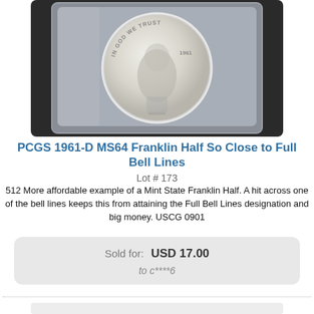[Figure (photo): Photo of a PCGS-slabbed 1961-D Franklin Half Dollar coin in a clear plastic holder, showing the obverse (front) of the coin with 'IN GOD WE TRUST' and '1961' visible. The coin appears silver/white and is in a dark-background display case.]
PCGS 1961-D MS64 Franklin Half So Close to Full Bell Lines
Lot # 173
512 More affordable example of a Mint State Franklin Half. A hit across one of the bell lines keeps this from attaining the Full Bell Lines designation and big money. USCG 0901
Sold for: USD 17.00
to c****6